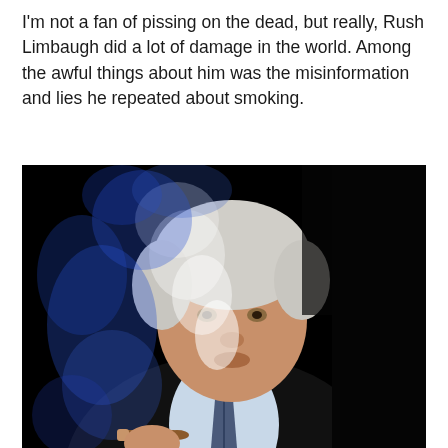I'm not a fan of pissing on the dead, but really, Rush Limbaugh did a lot of damage in the world. Among the awful things about him was the misinformation and lies he repeated about smoking.
[Figure (photo): A man in a dark suit holding a lit cigar with blue and white smoke swirling around him against a black background. The subject has gray-white hair and is wearing a blue shirt and patterned tie.]